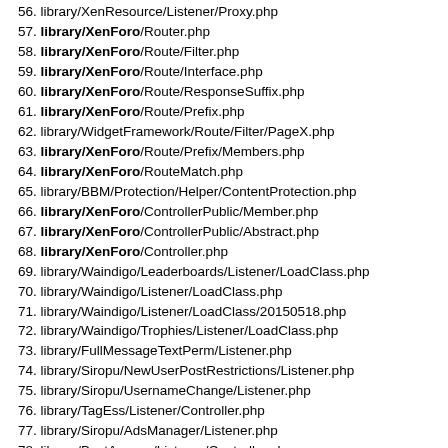55. library/Sedo/CufPerms/Listener.php
56. library/XenResource/Listener/Proxy.php
57. library/XenForo/Router.php
58. library/XenForo/Route/Filter.php
59. library/XenForo/Route/Interface.php
60. library/XenForo/Route/ResponseSuffix.php
61. library/XenForo/Route/Prefix.php
62. library/WidgetFramework/Route/Filter/PageX.php
63. library/XenForo/Route/Prefix/Members.php
64. library/XenForo/RouteMatch.php
65. library/BBM/Protection/Helper/ContentProtection.php
66. library/XenForo/ControllerPublic/Member.php
67. library/XenForo/ControllerPublic/Abstract.php
68. library/XenForo/Controller.php
69. library/Waindigo/Leaderboards/Listener/LoadClass.php
70. library/Waindigo/Listener/LoadClass.php
71. library/Waindigo/Listener/LoadClass/20150518.php
72. library/Waindigo/Trophies/Listener/LoadClass.php
73. library/FullMessageTextPerm/Listener.php
74. library/Siropu/NewUserPostRestrictions/Listener.php
75. library/Siropu/UsernameChange/Listener.php
76. library/TagEss/Listener/Controller.php
77. library/Siropu/AdsManager/Listener.php
78. library/BestAnswer/Listener/Controller.php
79. library/Waindigo/Leaderboards/Extend/XenForo/ControllerPub...